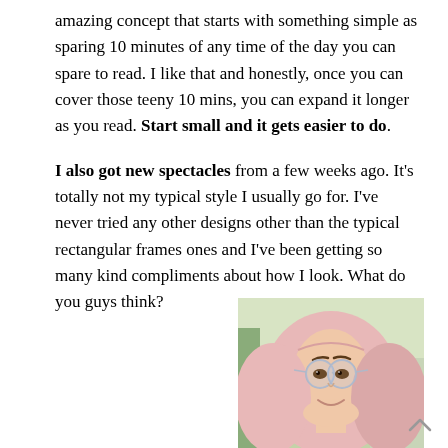amazing concept that starts with something simple as sparing 10 minutes of any time of the day you can spare to read. I like that and honestly, once you can cover those teeny 10 mins, you can expand it longer as you read. Start small and it gets easier to do.

I also got new spectacles from a few weeks ago. It's totally not my typical style I usually go for. I've never tried any other designs other than the typical rectangular frames ones and I've been getting so many kind compliments about how I look. What do you guys think?
[Figure (photo): Selfie photo of a young woman wearing a pink hijab and round wire-frame spectacles, smiling, with a light green/yellow background]